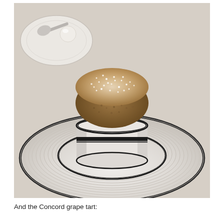[Figure (photo): A soufflé or baked dessert rising above a white ceramic ramekin with a dark navy/black rim stripe, placed on a large white rimmed plate with circular ridged pattern. A small white plate with a round white chocolate or sugar sphere is visible in the background upper left.]
And the Concord grape tart: